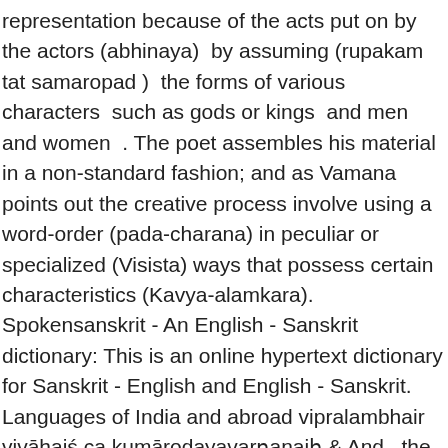representation because of the acts put on by the actors (abhinaya)  by assuming (rupakam tat samaropad )  the forms of various characters  such as gods or kings  and men and women  . The poet assembles his material in a non-standard fashion; and as Vamana points out the creative process involve using a word-order (pada-charana) in peculiar or specialized (Visista) ways that possess certain characteristics (Kavya-alamkara). Spokensanskrit - An English - Sanskrit dictionary: This is an online hypertext dictionary for Sanskrit - English and English - Sanskrit. Languages of India and abroad vipralambhair vivāhaiś ca kumārodayavarṇanaiḥ & And , the Kavya is concluded on an auspicious note ( Antya-mangala). Manthra (state councils), Doothaprayana (emissaries-relation with other states), battles, victory of the hero, are to narrated in